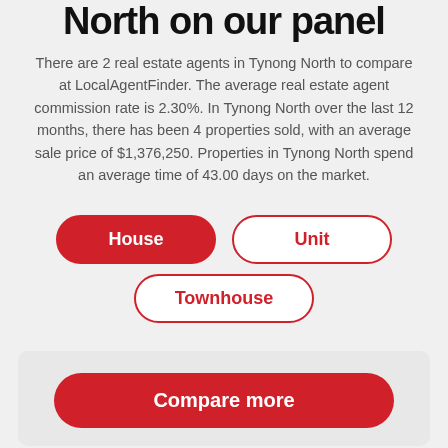North on our panel
There are 2 real estate agents in Tynong North to compare at LocalAgentFinder. The average real estate agent commission rate is 2.30%. In Tynong North over the last 12 months, there has been 4 properties sold, with an average sale price of $1,376,250. Properties in Tynong North spend an average time of 43.00 days on the market.
House
Unit
Townhouse
Compare more